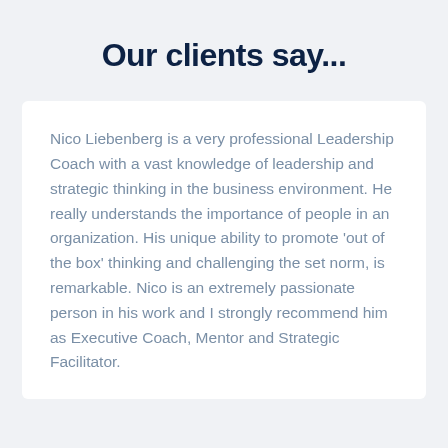Our clients say...
Nico Liebenberg is a very professional Leadership Coach with a vast knowledge of leadership and strategic thinking in the business environment. He really understands the importance of people in an organization. His unique ability to promote 'out of the box' thinking and challenging the set norm, is remarkable. Nico is an extremely passionate person in his work and I strongly recommend him as Executive Coach, Mentor and Strategic Facilitator.